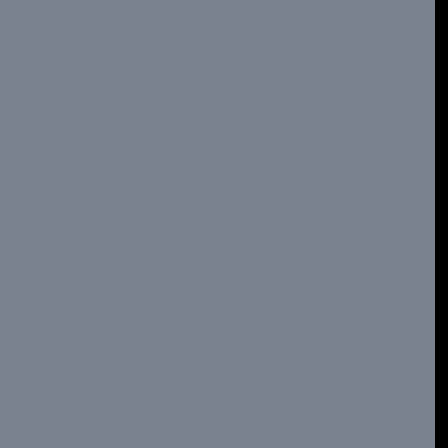recommended.
Last and First Men, the film
12/12/21; 5:45pm CST
A film most people wouldn't sit still for, based on a book very few people would read. Olaf Stapledon's books, even while fiction, were more philosophical treatises rather than narrative novels. The director of the film adaptation of Last and First Men wisely chose to keep it just as esoteric. It is currently streaming for a limited time at Metrograph, a service I discovered just before Halloween. Recommended for those who are willing to try something different.
Two more Neon Hemlock novellas
12/6/21; 3:50pm CST
Back in July I reviewed two novellas I got through a Neon Hemlock Press Kickstarter campaign. Two more were published at the end of October, and I finally got to them. The better of the two is & This Is How To Stay Alive by Shingai Njeri Kagunda. The other is a gothic tale set in 1920s Oregon, The Secret Skin by Wendy N. Wagner, which